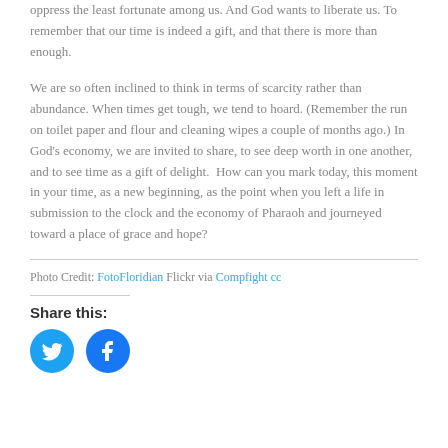oppress the least fortunate among us. And God wants to liberate us. To remember that our time is indeed a gift, and that there is more than enough.
We are so often inclined to think in terms of scarcity rather than abundance. When times get tough, we tend to hoard. (Remember the run on toilet paper and flour and cleaning wipes a couple of months ago.) In God’s economy, we are invited to share, to see deep worth in one another, and to see time as a gift of delight.  How can you mark today, this moment in your time, as a new beginning, as the point when you left a life in submission to the clock and the economy of Pharaoh and journeyed toward a place of grace and hope?
Photo Credit: FotoFloridian Flickr via Compfight cc
Share this:
[Figure (other): Twitter and Facebook social share buttons (circular icons)]